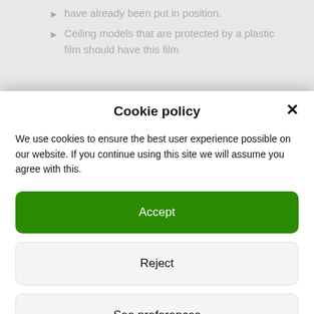have already been put in position.
Ceiling models that are protected by a plastic film should have this film
Cookie policy
We use cookies to ensure the best user experience possible on our website. If you continue using this site we will assume you agree with this.
Accept
Reject
See preferences
Cookie policy   Privacy Policy   Legal warning